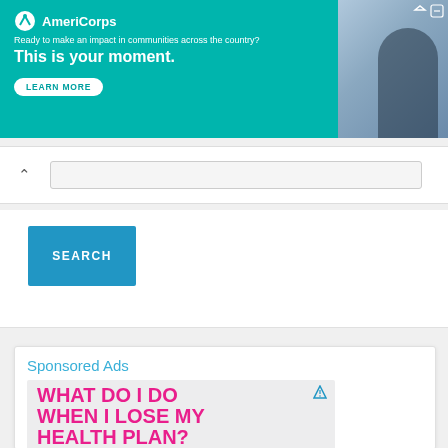[Figure (screenshot): AmeriCorps banner ad with teal background. Text: 'Ready to make an impact in communities across the country? This is your moment.' with a LEARN MORE button. Photo of a woman on the right.]
[Figure (screenshot): Search bar area with a chevron up icon and a horizontal search input field]
[Figure (screenshot): Blue SEARCH button on white background panel]
Sponsored Ads
[Figure (infographic): Health insurance ad on light grey background with large hot-pink bold text: 'WHAT DO I DO WHEN I LOSE MY HEALTH PLAN? LIFE HAPPENS. GET COVERED.']